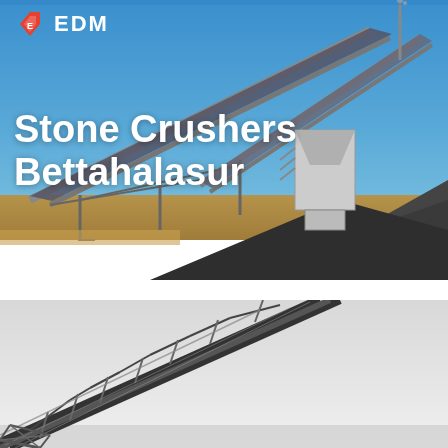[Figure (photo): Industrial stone crusher facility at Bettahalasur showing conveyor belts, structural steel framework, processing equipment, and piles of crushed stone against a blue sky]
Stone Crushers Bettahalasur
[Figure (photo): Close-up view of a large angled conveyor belt structure at a stone crushing facility against a light grey sky]